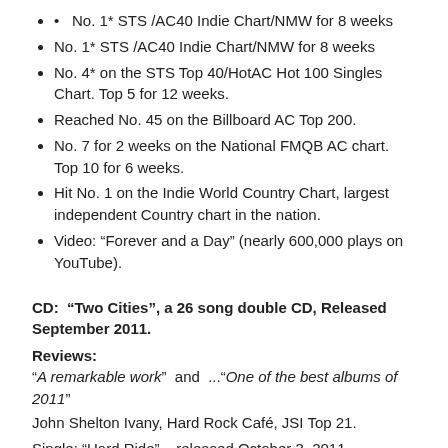No. 1* STS /AC40 Indie Chart/NMW for 8 weeks
No. 4* on the STS Top 40/HotAC Hot 100 Singles Chart. Top 5 for 12 weeks.
Reached No. 45 on the Billboard AC Top 200.
No. 7 for 2 weeks on the National FMQB AC chart. Top 10 for 6 weeks.
Hit No. 1 on the Indie World Country Chart, largest independent Country chart in the nation.
Video: “Forever and a Day” (nearly 600,000 plays on YouTube).
CD: “Two Cities”, a 26 song double CD, Released September 2011.
Reviews:
“A remarkable work”  and ...“One of the best albums of 2011”
John Shelton Ivany, Hard Rock Café, JSI Top 21.
Single: “Hard Ride” – released October 3, 2011.